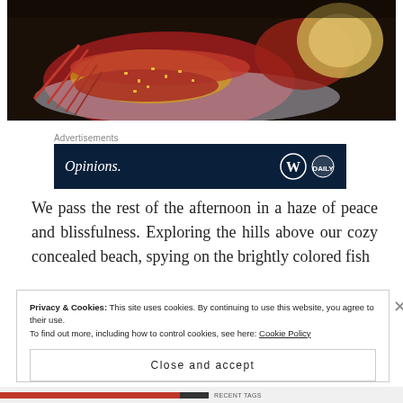[Figure (photo): Close-up photograph of a cooked lobster dish with rice and grilled onion on a plate, dark background.]
Advertisements
[Figure (screenshot): Dark navy advertisement banner showing 'Opinions.' text in italic and WordPress/Daily Post logos on the right.]
We pass the rest of the afternoon in a haze of peace and blissfulness. Exploring the hills above our cozy concealed beach, spying on the brightly colored fish
Privacy & Cookies: This site uses cookies. By continuing to use this website, you agree to their use.
To find out more, including how to control cookies, see here: Cookie Policy
Close and accept